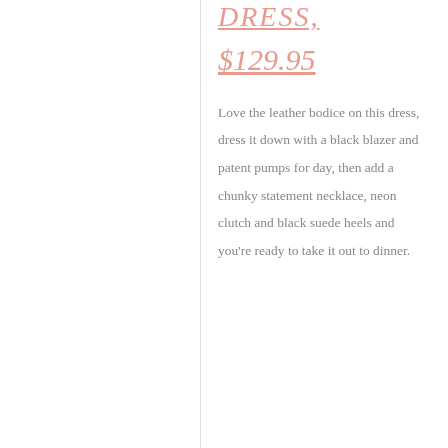DRESS,
$129.95
Love the leather bodice on this dress, dress it down with a black blazer and patent pumps for day, then add a chunky statement necklace, neon clutch and black suede heels and you're ready to take it out to dinner.